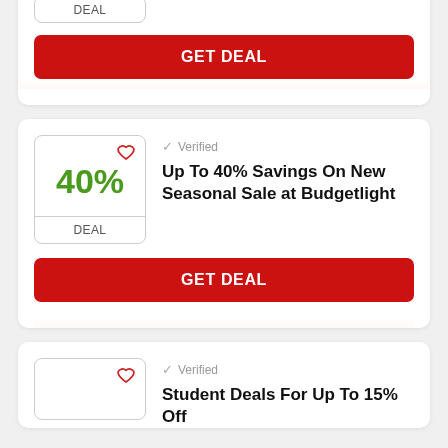[Figure (screenshot): Deal card (top, partially visible): shows a DEAL badge and a red GET DEAL button, partially cut off at top]
GET DEAL
[Figure (screenshot): Deal card: 40% badge with heart icon, Verified checkmark, title 'Up To 40% Savings On New Seasonal Sale at Budgetlight', GET DEAL button]
Verified
Up To 40% Savings On New Seasonal Sale at Budgetlight
GET DEAL
[Figure (screenshot): Deal card (bottom, partially visible): heart icon, Verified checkmark, partial title 'Student Deals For Up To 15% Off']
Verified
Student Deals For Up To 15% Off